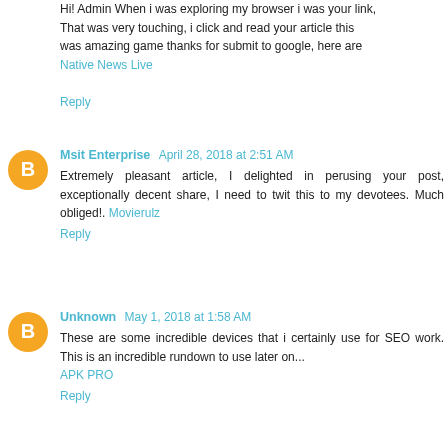Hi! Admin When i was exploring my browser i was your link, That was very touching, i click and read your article this was amazing game thanks for submit to google, here are Native News Live
Reply
Msit Enterprise April 28, 2018 at 2:51 AM
Extremely pleasant article, I delighted in perusing your post, exceptionally decent share, I need to twit this to my devotees. Much obliged!. Movierulz
Reply
Unknown May 1, 2018 at 1:58 AM
These are some incredible devices that i certainly use for SEO work. This is an incredible rundown to use later on... APK PRO
Reply